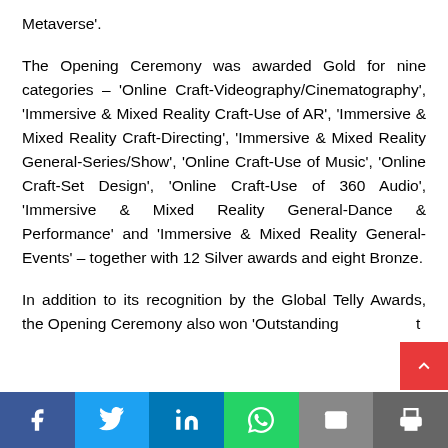Metaverse'.
The Opening Ceremony was awarded Gold for nine categories – 'Online Craft-Videography/Cinematography', 'Immersive & Mixed Reality Craft-Use of AR', 'Immersive & Mixed Reality Craft-Directing', 'Immersive & Mixed Reality General-Series/Show', 'Online Craft-Use of Music', 'Online Craft-Set Design', 'Online Craft-Use of 360 Audio', 'Immersive & Mixed Reality General-Dance & Performance' and 'Immersive & Mixed Reality General-Events' – together with 12 Silver awards and eight Bronze.
In addition to its recognition by the Global Telly Awards, the Opening Ceremony also won 'Outstanding t
f  [twitter]  in  [whatsapp]  [email]  [print]